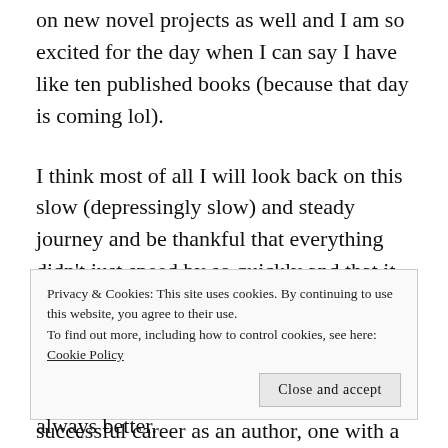on new novel projects as well and I am so excited for the day when I can say I have like ten published books (because that day is coming lol).
I think most of all I will look back on this slow (depressingly slow) and steady journey and be thankful that everything didn't just speed by so quickly and that it wasn't an easy road because as I've said here before, I don't believe that anything worth having is ever going to be easy to obtain. I want a long steady and very successful career as an author, one with a legacy I can pass down to my daughter and I think maybe that means that the journey needs to be long and steady as well. We
Privacy & Cookies: This site uses cookies. By continuing to use this website, you agree to their use. To find out more, including how to control cookies, see here: Cookie Policy
Close and accept
always better.